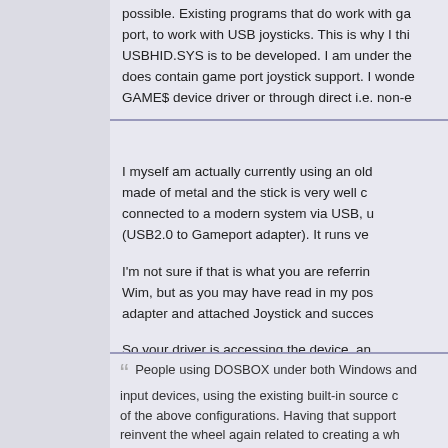possible. Existing programs that do work with ga port, to work with USB joysticks. This is why I thi USBHID.SYS is to be developed. I am under the does contain game port joystick support. I wonde GAME$ device driver or through direct i.e. non-e
I myself am actually currently using an old made of metal and the stick is very well c connected to a modern system via USB, u (USB2.0 to Gameport adapter). It runs ve
I'm not sure if that is what you are referrin Wim, but as you may have read in my pos adapter and attached Joystick and succes
So your driver is accessing the device, an (attached to one of my previous posts), w the answer to addressing this particular p
Quote
People using DOSBOX under both Windows and input devices, using the existing built-in source c of the above configurations. Having that support reinvent the wheel again related to creating a wh devices, as legacy games represents the majorit for.